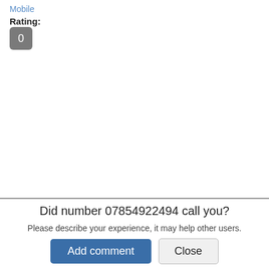Mobile
Rating:
0
Did number 07854922494 call you?
Please describe your experience, it may help other users.
Add comment
Close